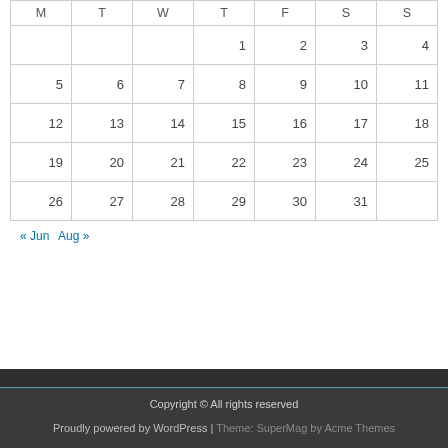| M | T | W | T | F | S | S |
| --- | --- | --- | --- | --- | --- | --- |
|  |  |  | 1 | 2 | 3 | 4 |
| 5 | 6 | 7 | 8 | 9 | 10 | 11 |
| 12 | 13 | 14 | 15 | 16 | 17 | 18 |
| 19 | 20 | 21 | 22 | 23 | 24 | 25 |
| 26 | 27 | 28 | 29 | 30 | 31 |  |
« Jun   Aug »
Copyright © All rights reserved
Proudly powered by WordPress | Theme: SuperMag by Acme Themes